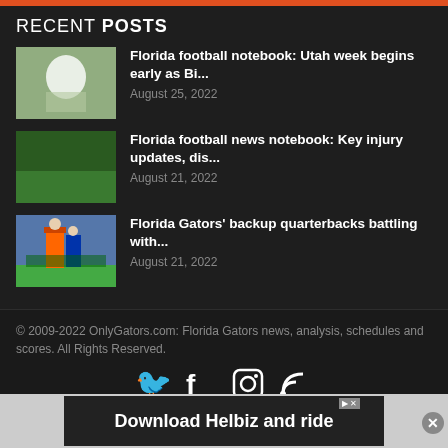RECENT POSTS
Florida football notebook: Utah week begins early as Bi...
August 25, 2022
Florida football news notebook: Key injury updates, dis...
August 21, 2022
Florida Gators' backup quarterbacks battling with...
August 21, 2022
© 2009-2022 OnlyGators.com: Florida Gators news, analysis, schedules and scores. All Rights Reserved.
[Figure (screenshot): Download Helbiz and ride advertisement banner at the bottom of the page]